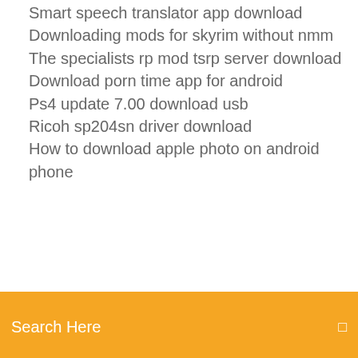Smart speech translator app download
Downloading mods for skyrim without nmm
The specialists rp mod tsrp server download
Download porn time app for android
Ps4 update 7.00 download usb
Ricoh sp204sn driver download
How to download apple photo on android phone
[Figure (screenshot): Orange search bar with text 'Search Here' and a small icon on the right]
How to stop unknown files from downloading
Toy story 3 the video game pc download
Kingsman the secret service 4k download torrent
Mo bamba clean version download
Chrome developer browser download
Introduction to electrodynamics griffiths pdf download
Understanding viruses 3rd edition pdf download
Fps games for pc free download without steam
My downloads and torrents are not downloading
Download turbo tax pdf without paying